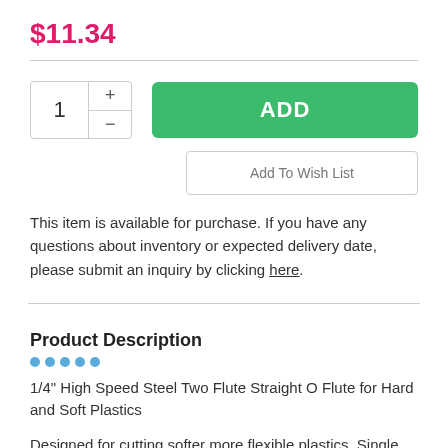$11.34
[Figure (other): Quantity selector with plus and minus buttons showing value 1, and a green ADD button]
Add To Wish List
This item is available for purchase. If you have any questions about inventory or expected delivery date, please submit an inquiry by clicking here.
Product Description
1/4" High Speed Steel Two Flute Straight O Flute for Hard and Soft Plastics
Designed for cutting softer more flexible plastics. Single edge for